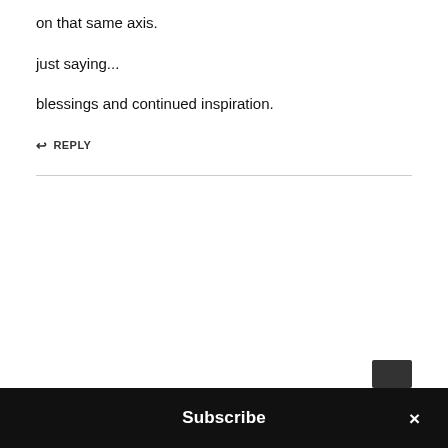on that same axis.
just saying...
blessings and continued inspiration.
↩ REPLY
Subscribe ×